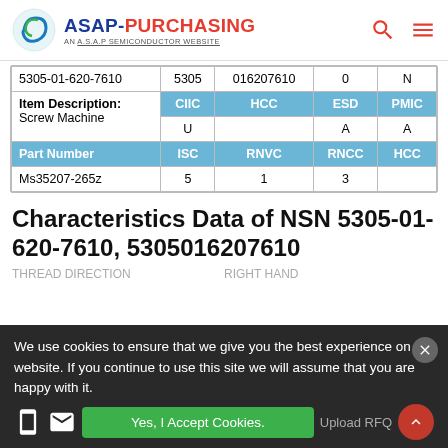ASAP-PURCHASING AN A.S.A.P SEMICONDUCTOR WEBSITE
|  | 5305 | 016207610 | 0 | N |
| --- | --- | --- | --- | --- |
| 5305-01-620-7610 | 5305 | 016207610 | 0 | N |
| Item Description: Screw Machine | CIIC | HCC | ESD | PMIC |
|  | U |  | A | A |
| Part Number | ISC | RNVC | RNCC | HCC |
| Ms35207-265z | 5 | 1 | 3 |  |
Characteristics Data of NSN 5305-01-620-7610, 5305016207610
We use cookies to ensure that we give you the best experience on our website. If you continue to use this site we will assume that you are happy with it.